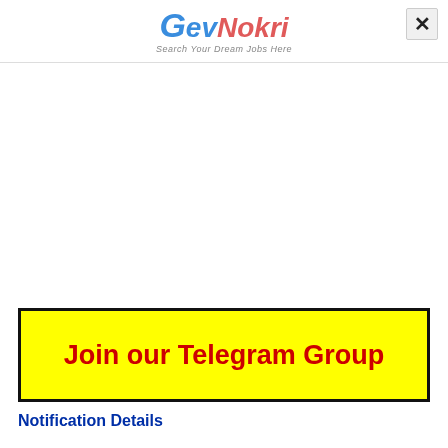[Figure (logo): GovNokri logo with tagline 'Search Your Dream Jobs Here' in blue and red italic text]
Join our Telegram Group
Notification Details